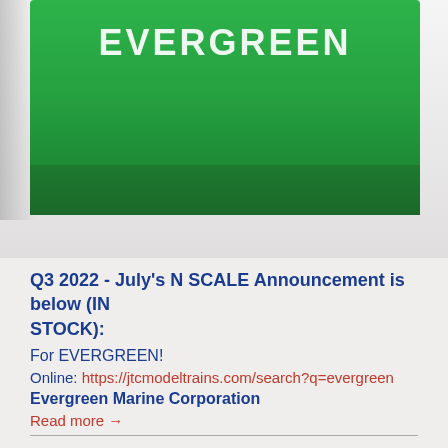[Figure (photo): Photo of a green EVERGREEN branded shipping container model on a white/grey background]
Q3 2022 - July's N SCALE Announcement is below (IN STOCK):
For EVERGREEN!
Online: https://jtcmodeltrains.com/search?q=evergreen
Evergreen Marine Corporation
Read more →
NEW N SCALE 2Q 2022 Releases - NEW 53' Releases, many of these you only see from JTC Models